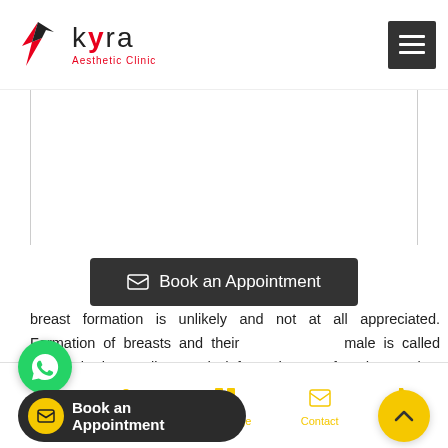Kyra Aesthetic Clinic - navigation header
[Figure (screenshot): Blank white content area with faint border lines, representing a scrolled image placeholder]
[Figure (other): Dark rounded rectangle button labeled 'Book an Appointment' with envelope icon]
breast formation is unlikely and not at all appreciated. Formation of breasts and their male is called ical abnormality and deformed state found ales. breasts area get
[Figure (other): Green circular WhatsApp floating button]
[Figure (other): Dark floating bar with yellow envelope icon and text 'Book an Appointment']
[Figure (other): Yellow circular scroll-up button with chevron icon]
Home | About Us | Our Range | Contact | Call Us